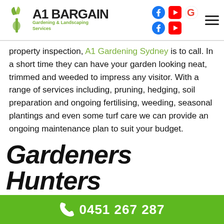[Figure (logo): A1 Bargain Gardening & Landscaping Services logo with green leaf icon]
[Figure (other): Social media icons: Facebook, YouTube, Google (top row); Facebook, YouTube (bottom row), and hamburger menu icon]
property inspection, A1 Gardening Sydney is to call. In a short time they can have your garden looking neat, trimmed and weeded to impress any visitor. With a range of services including, pruning, hedging, soil preparation and ongoing fertilising, weeding, seasonal plantings and even some turf care we can provide an ongoing maintenance plan to suit your budget.
Gardeners Hunters Hill
0451 267 287